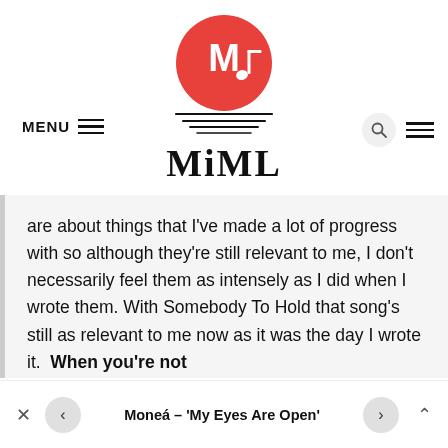[Figure (logo): MIML music website logo: red circle with white M and musical note, horizontal lines below forming a sunset shape, stylized MIML text underneath in handwritten style]
MENU  [hamburger lines]  [search icon]  [hamburger icon]
are about things that I've made a lot of progress with so although they're still relevant to me, I don't necessarily feel them as intensely as I did when I wrote them. With Somebody To Hold that song's still as relevant to me now as it was the day I wrote it.  When you're not
× < Moneá – 'My Eyes Are Open' > ^